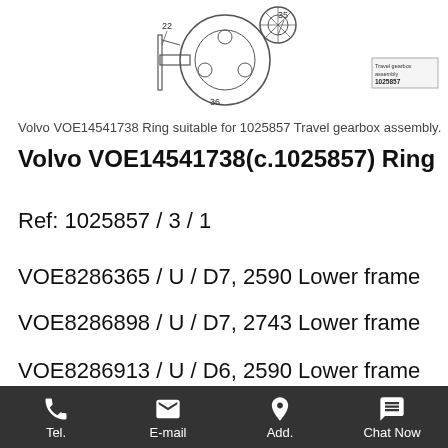[Figure (engineering-diagram): Technical line drawing of a Volvo travel gearbox assembly (part 1025857) showing labeled components with reference numbers including 22, 35, 36. A small box in the upper right shows '1025857' part number label.]
Volvo VOE14541738 Ring suitable for 1025857 Travel gearbox assembly.
Volvo VOE14541738(c.1025857) Ring
Ref: 1025857 / 3 / 1
VOE8286365 / U / D7, 2590 Lower frame
VOE8286898 / U / D7, 2743 Lower frame
VOE8286913 / U / D6, 2590 Lower frame
VOE8277764 / U / LC Type Lower frame, bolted step
Tel.   E-mail   Add.   Chat Now